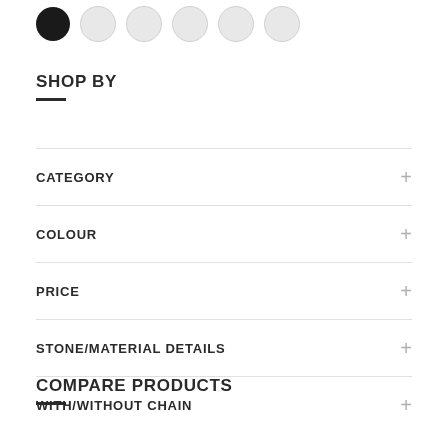[Figure (illustration): Color swatches row: one filled black circle followed by five lighter grey circles]
SHOP BY
CATEGORY
COLOUR
PRICE
STONE/MATERIAL DETAILS
WITH/WITHOUT CHAIN
COMPARE PRODUCTS